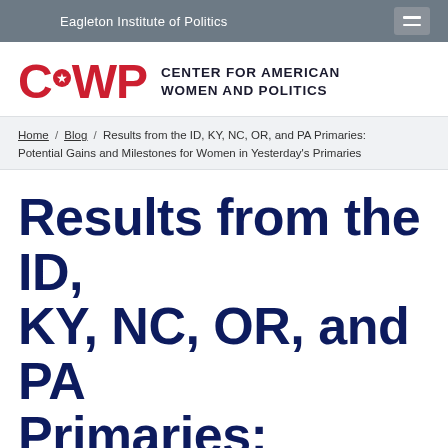Eagleton Institute of Politics
[Figure (logo): CAWP — Center for American Women and Politics logo with red text and star emblem]
Home / Blog / Results from the ID, KY, NC, OR, and PA Primaries: Potential Gains and Milestones for Women in Yesterday's Primaries
Results from the ID, KY, NC, OR, and PA Primaries: Potential Gains and Milestones for Women in